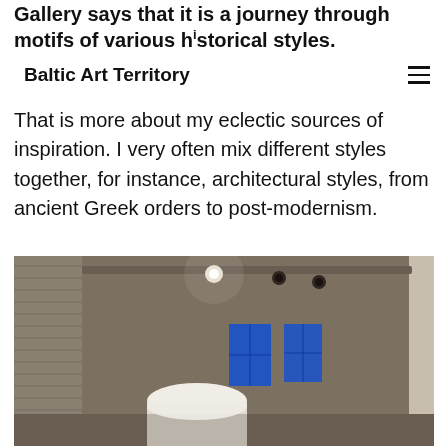gallery says that it is a journey through motifs of various historical styles.
Baltic Art Territory
That is more about my eclectic sources of inspiration. I very often mix different styles together, for instance, architectural styles, from ancient Greek orders to post-modernism.
[Figure (photo): Interior of an art gallery showing a room with track lighting on the ceiling, textured columns on the left, blue windows visible in the background, and a white rounded pedestal in the center foreground.]